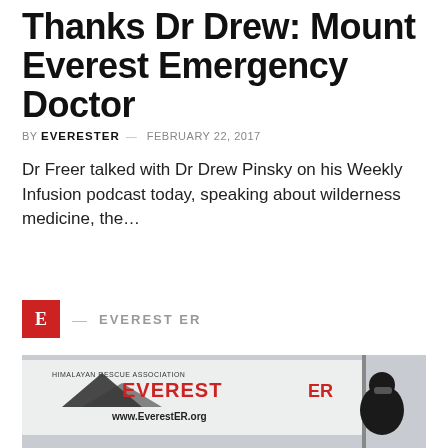Thanks Dr Drew: Mount Everest Emergency Doctor
BY EVERESTER — FEBRUARY 22, 2017
Dr Freer talked with Dr Drew Pinsky on his Weekly Infusion podcast today, speaking about wilderness medicine, the...
E — EVEREST ER
[Figure (photo): Person in black winter gear smiling in front of a white banner reading EVEREST ER and www.EverestER.org in snowy/overcast conditions]